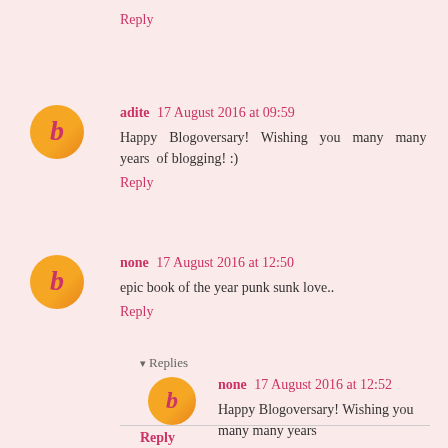Reply
adite  17 August 2016 at 09:59
Happy Blogoversary! Wishing you many many years of blogging! :)
Reply
none  17 August 2016 at 12:50
epic book of the year punk sunk love..
Reply
▾ Replies
none  17 August 2016 at 12:52
Happy Blogoversary! Wishing you many many years
Reply